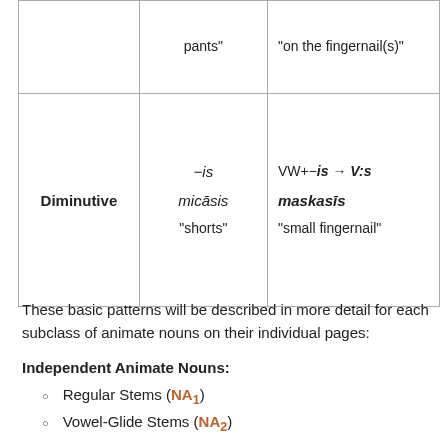|  | Form | Example |
| --- | --- | --- |
|  | pants" | "on the fingernail(s)" |
| Diminutive | –is

micāsis

"shorts" | VW+–is → V:s

maskasīs

"small fingernail" |
These basic patterns will be described in more detail for each subclass of animate nouns on their individual pages:
Independent Animate Nouns:
Regular Stems (NA₁)
Vowel-Glide Stems (NA₂)